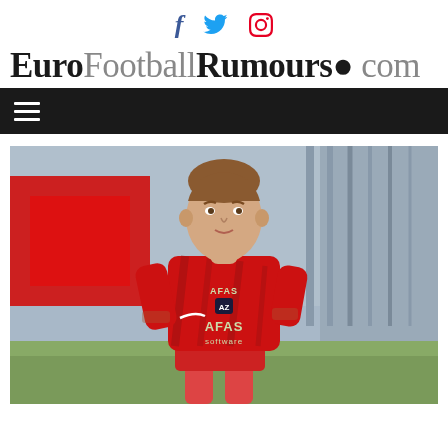EuroFootballRumours.com — social icons: Facebook, Twitter, Pinterest
EuroFootballRumours.com
[Figure (photo): A football player wearing a red AZ Alkmaar AFAS Software jersey, running on a pitch. The shirt displays AFAS and AZ branding. Background shows stadium elements.]